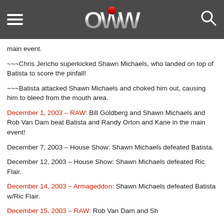OWW (Online World of Wrestling)
main event.
~~~Chris Jericho superkicked Shawn Michaels, who landed on top of Batista to score the pinfall!
~~~Batista attacked Shawn Michaels and choked him out, causing him to bleed from the mouth area.
December 1, 2003 – RAW: Bill Goldberg and Shawn Michaels and Rob Van Dam beat Batista and Randy Orton and Kane in the main event!
December 7, 2003 – House Show: Shawn Michaels defeated Batista.
December 12, 2003 – House Show: Shawn Michaels defeated Ric Flair.
December 14, 2003 – Armageddon: Shawn Michaels defeated Batista w/Ric Flair.
December 15, 2003 – RAW: Rob Van Dam and Sh...